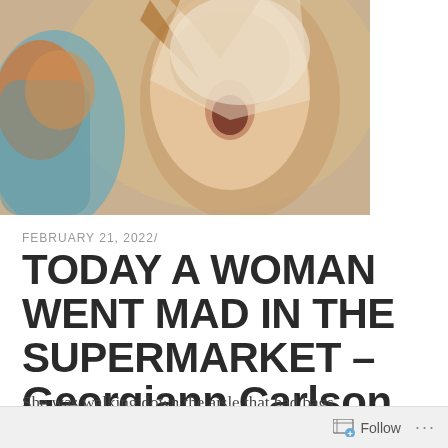[Figure (illustration): Artistic illustrated image showing a figure with stylized colors — orange, teal, brown tones — cropped at the top of the page]
FEBRUARY 21, 2022/
TODAY A WOMAN WENT MAD IN THE SUPERMARKET – Georgiann Carlson
She was walking down the aisle that had bags of marshmallows